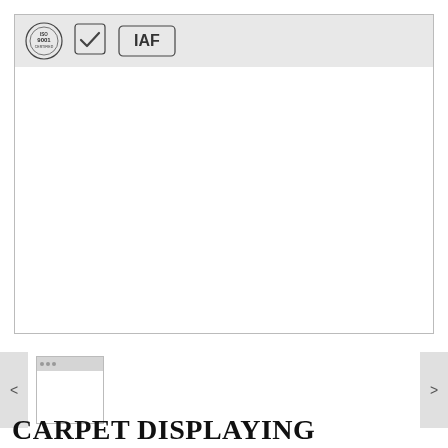[Figure (screenshot): A document page displayed in a viewer, showing a header strip with three certification logos: an ISO 9001 circular seal, a checkmark/shield quality mark, and an IAF logo. The rest of the document body is blank white.]
[Figure (screenshot): A small thumbnail of the same document page, showing a grey header strip and white body.]
CARPET DISPLAYING